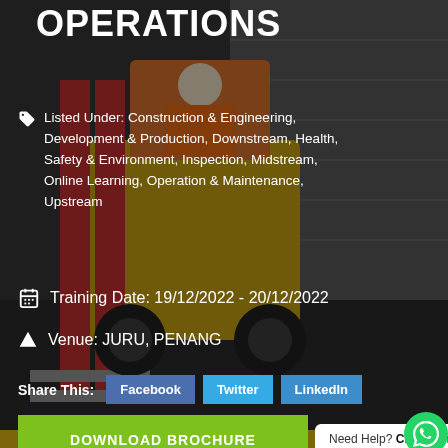OPERATIONS
Listed Under: Construction & Engineering, Development & Production, Downstream, Health, Safety & Environment, Inspection, Midstream, Online Learning, Operation & Maintenance, Upstream
Training Date: 19/12/2022 - 20/12/2022
Venue: JURU, PENANG
Share This: Facebook Twitter LinkedIn
DOWNLOAD BROCHURE
Need Help? Chat with us